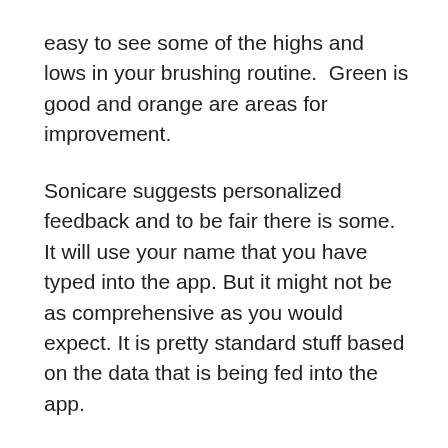easy to see some of the highs and lows in your brushing routine.  Green is good and orange are areas for improvement.
Sonicare suggests personalized feedback and to be fair there is some. It will use your name that you have typed into the app. But it might not be as comprehensive as you would expect. It is pretty standard stuff based on the data that is being fed into the app.
I am not knocking it, just aligning expectations.
For example, the data could show that on Tuesday and Thursday evenings you only brush for 1 minute, 30 seconds of which are with too